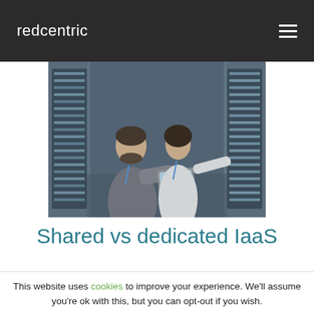redcentric
[Figure (photo): Two IT professionals in a data center, one holding a laptop and the other pointing at server racks]
Shared vs dedicated IaaS
This website uses cookies to improve your experience. We'll assume you're ok with this, but you can opt-out if you wish. Cookie settings  Accept